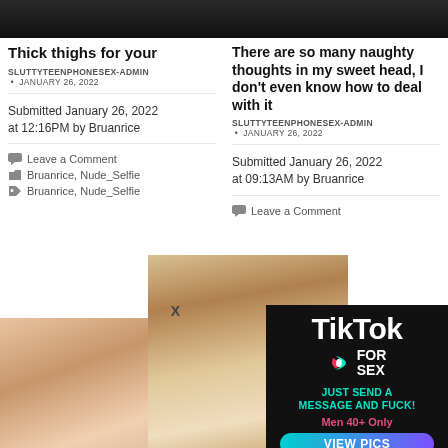[Figure (photo): Cropped dark image top of left column]
Thick thighs for your
SLUTTYTEENPHONESEX-ADMIN • JANUARY 26, 2022
Submitted January 26, 2022 at 12:16PM by Bruanrice
Leave a Comment
Bruanrice, Nude_Selfie
Bruanrice, Nude_Selfie
[Figure (photo): Cropped dark image top of right column]
There are so many naughty thoughts in my sweet head, I don't even know how to deal with it
SLUTTYTEENPHONESEX-ADMIN • JANUARY 26, 2022
Submitted January 26, 2022 at 09:13AM by Bruanrice
Leave a Comment
[Figure (photo): Blonde woman photo bottom left]
[Figure (photo): Blonde woman in restaurant center]
[Figure (infographic): TikTok for Sex advertisement: JUST SEND A MESSAGE AND FUCK! Men 40+ Only VIEW PICS]